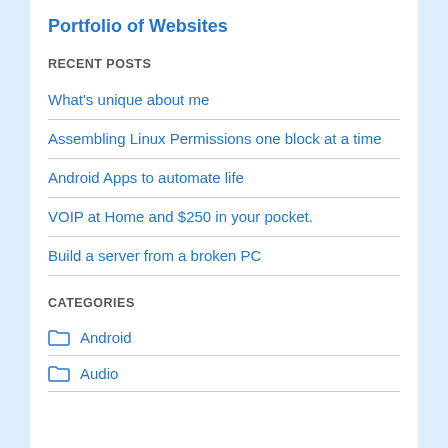Portfolio of Websites
RECENT POSTS
What's unique about me
Assembling Linux Permissions one block at a time
Android Apps to automate life
VOIP at Home and $250 in your pocket.
Build a server from a broken PC
CATEGORIES
Android
Audio